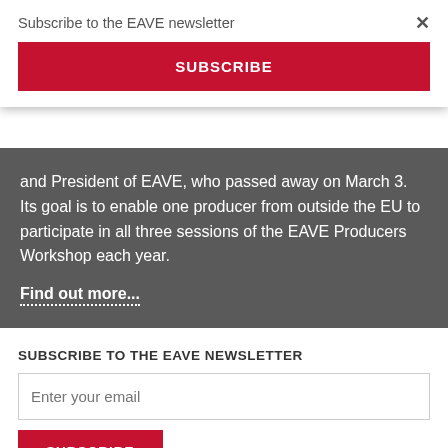Subscribe to the EAVE newsletter
×
SUBSCRIBE
and President of EAVE, who passed away on March 3. Its goal is to enable one producer from outside the EU to participate in all three sessions of the EAVE Producers Workshop each year.
Find out more...
SUBSCRIBE TO THE EAVE NEWSLETTER
Enter your email
SUBSCRIBE